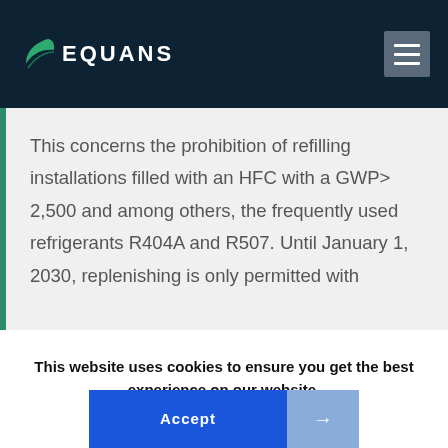[Figure (logo): Equans logo with stylized green leaf and white text on dark navy background, with hamburger menu icon top right]
This concerns the prohibition of refilling installations filled with an HFC with a GWP> 2,500 and among others, the frequently used refrigerants R404A and R507. Until January 1, 2030, replenishing is only permitted with
This website uses cookies to ensure you get the best experience on our website.
Read more
Accept